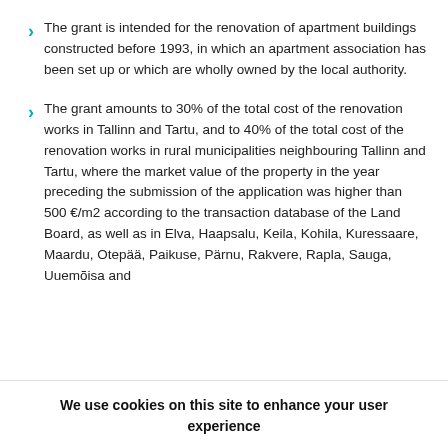The grant is intended for the renovation of apartment buildings constructed before 1993, in which an apartment association has been set up or which are wholly owned by the local authority.
The grant amounts to 30% of the total cost of the renovation works in Tallinn and Tartu, and to 40% of the total cost of the renovation works in rural municipalities neighbouring Tallinn and Tartu, where the market value of the property in the year preceding the submission of the application was higher than 500 €/m2 according to the transaction database of the Land Board, as well as in Elva, Haapsalu, Keila, Kohila, Kuressaare, Maardu, Otepää, Paikuse, Pärnu, Rakvere, Rapla, Sauga, Uuemõisa and
We use cookies on this site to enhance your user experience